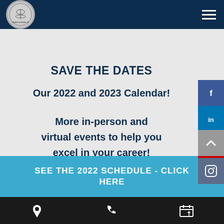AADOM Triangle Area NC Chapter - Header with logo and hamburger menu
SAVE THE DATES
Our 2022 and 2023 Calendar!
More in-person and virtual events to help you excel in your career!
[Figure (infographic): Social media sidebar icons: Facebook, LinkedIn, YouTube, Instagram]
SEE THE 2022 SCHEDULE - CLICK HERE
Bottom navigation bar with location, phone, and calendar icons